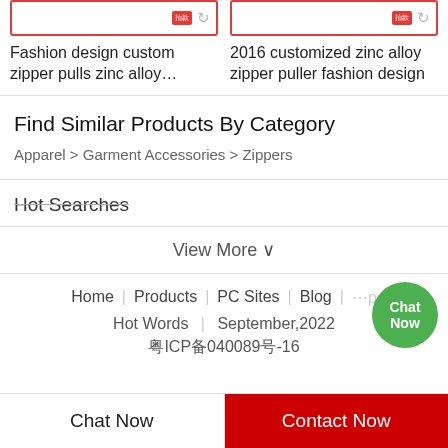Fashion design custom zipper pulls zinc alloy…
2016 customized zinc alloy zipper puller fashion design
Find Similar Products By Category
Apparel > Garment Accessories > Zippers
Hot Searches
View More ∨
Home | Products | PC Sites | Blog | Hot Words | September,2022 | 粤ICP备040089号-16
Chat Now
Contact Now